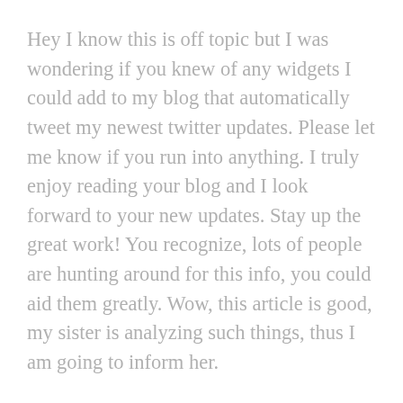Hey I know this is off topic but I was wondering if you knew of any widgets I could add to my blog that automatically tweet my newest twitter updates. Please let me know if you run into anything. I truly enjoy reading your blog and I look forward to your new updates. Stay up the great work! You recognize, lots of people are hunting around for this info, you could aid them greatly. Wow, this article is good, my sister is analyzing such things, thus I am going to inform her.
I am really impressed with your writing skills as well as with the layout on your weblog. Is this a paid theme or did you modify it yourself? Piece of…